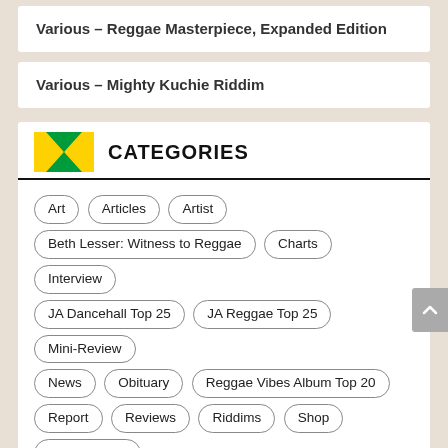Various – Reggae Masterpiece, Expanded Edition
Various – Mighty Kuchie Riddim
CATEGORIES
Art
Articles
Artist
Beth Lesser: Witness to Reggae
Charts
Interview
JA Dancehall Top 25
JA Reggae Top 25
Mini-Review
News
Obituary
Reggae Vibes Album Top 20
Report
Reviews
Riddims
Shop
Soundstation
Uncategorized
Various
Video
Writings
POPULAR TAGS